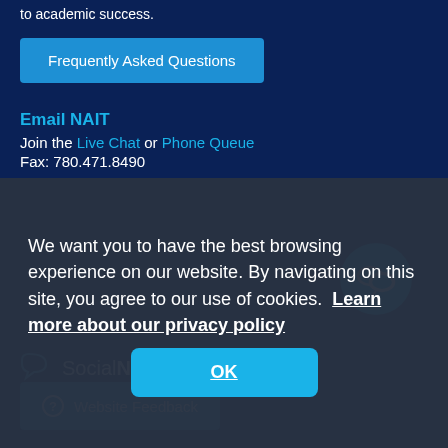to academic success.
Frequently Asked Questions
Email NAIT
Join the Live Chat or Phone Queue
Fax: 780.471.8490
We want you to have the best browsing experience on our website. By navigating on this site, you agree to our use of cookies. Learn more about our privacy policy
OK
SocialNAIT
Website Feedback